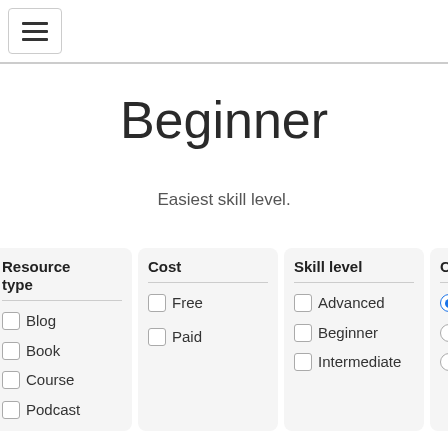☰ (hamburger menu icon)
Beginner
Easiest skill level.
| Resource type | Cost | Skill level | Certificate |
| --- | --- | --- | --- |
| Blog | ☐ Free | ☐ Advanced | ⦿ Either |
| Book | ☐ Paid | ☐ Beginner | ○ Yes |
| Course |  | ☐ Intermediate | ○ No |
| Podcast |  |  |  |